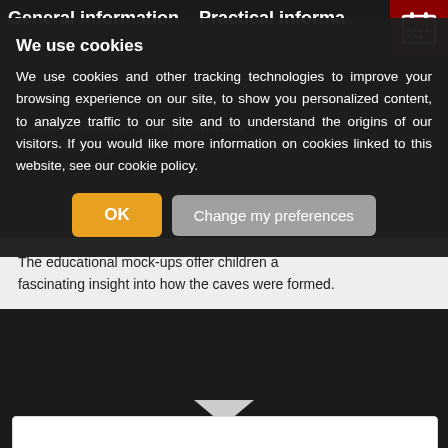General information   Practical informa
A delightful outing for all the family, led by an experienced guide keen to share their love of the underground world!
The educational mock-ups offer children a fascinating insight into how the caves were formed.
We use cookies
We use cookies and other tracking technologies to improve your browsing experience on our site, to show you personalized content, to analyze traffic to our site and to understand the origins of our visitors. If you would like more information on cookies linked to this website, see our cookie policy.
[Figure (logo): La grotte logo with brown cave/rock shape and orange dot accents]
OK   Change my preferences